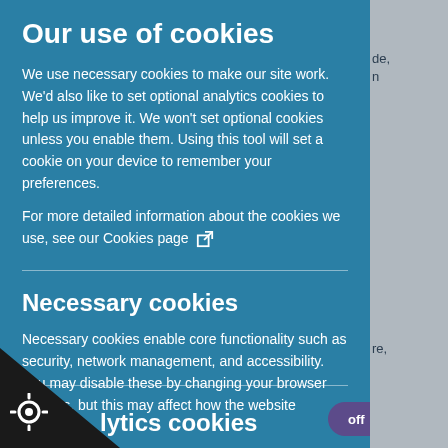Our use of cookies
We use necessary cookies to make our site work. We'd also like to set optional analytics cookies to help us improve it. We won't set optional cookies unless you enable them. Using this tool will set a cookie on your device to remember your preferences.
For more detailed information about the cookies we use, see our Cookies page
Necessary cookies
Necessary cookies enable core functionality such as security, network management, and accessibility. You may disable these by changing your browser settings, but this may affect how the website functions.
lytics cookies